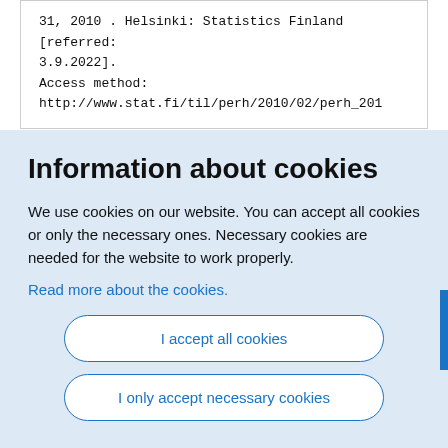31, 2010 . Helsinki: Statistics Finland [referred: 3.9.2022].
Access method:
http://www.stat.fi/til/perh/2010/02/perh_201
Information about cookies
We use cookies on our website. You can accept all cookies or only the necessary ones. Necessary cookies are needed for the website to work properly.
Read more about the cookies.
I accept all cookies
I only accept necessary cookies